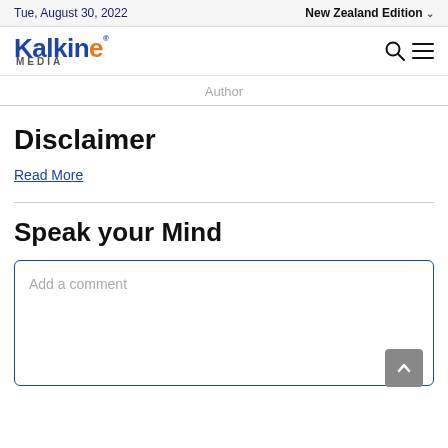Tue, August 30, 2022 | New Zealand Edition
[Figure (logo): Kalkine Media logo with blue text and orange 'e']
Author
Disclaimer
Read More
Speak your Mind
Add a comment